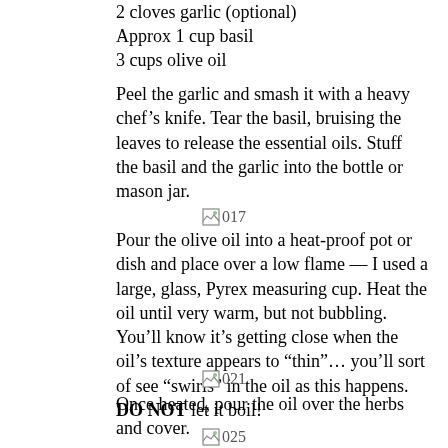2 cloves garlic (optional)
Approx 1 cup basil
3 cups olive oil
Peel the garlic and smash it with a heavy chef’s knife. Tear the basil, bruising the leaves to release the essential oils. Stuff the basil and the garlic into the bottle or mason jar.
[Figure (photo): Image placeholder labeled 017]
Pour the olive oil into a heat-proof pot or dish and place over a low flame — I used a large, glass, Pyrex measuring cup. Heat the oil until very warm, but not bubbling. You’ll know it’s getting close when the oil’s texture appears to “thin”… you’ll sort of see “swirls” in the oil as this happens. DO NOT let it boil!
[Figure (photo): Image placeholder labeled 021]
Once heated, pour the oil over the herbs and cover.
[Figure (photo): Image placeholder labeled 025]
Let stand in a cool dark place for about 1 week. After, strain the oil — removing all remnants and store in a